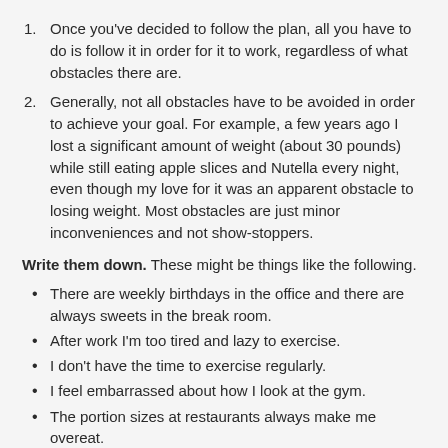Once you've decided to follow the plan, all you have to do is follow it in order for it to work, regardless of what obstacles there are.
Generally, not all obstacles have to be avoided in order to achieve your goal. For example, a few years ago I lost a significant amount of weight (about 30 pounds) while still eating apple slices and Nutella every night, even though my love for it was an apparent obstacle to losing weight. Most obstacles are just minor inconveniences and not show-stoppers.
Write them down. These might be things like the following.
There are weekly birthdays in the office and there are always sweets in the break room.
After work I'm too tired and lazy to exercise.
I don't have the time to exercise regularly.
I feel embarrassed about how I look at the gym.
The portion sizes at restaurants always make me overeat.
My friends always invite me to unhealthy restaurants.
The voices in my head tell me eating an entire bag of chips